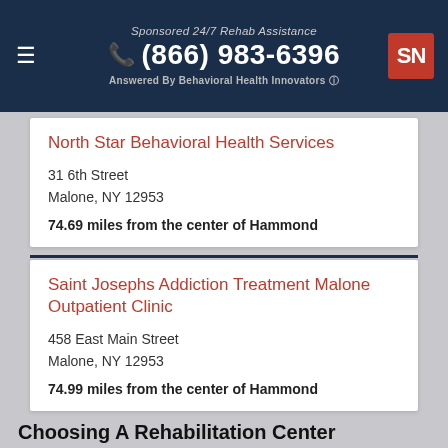Sponsored 24/7 Rehab Assistance (866) 983-6396 Answered By Behavioral Health Innovators
North Star Behavioral Health Services
31 6th Street
Malone, NY 12953
74.69 miles from the center of Hammond
Saint Josephs Addiction Treatment Malone Outpatient Clinic
458 East Main Street
Malone, NY 12953
74.99 miles from the center of Hammond
Choosing A Rehabilitation Center